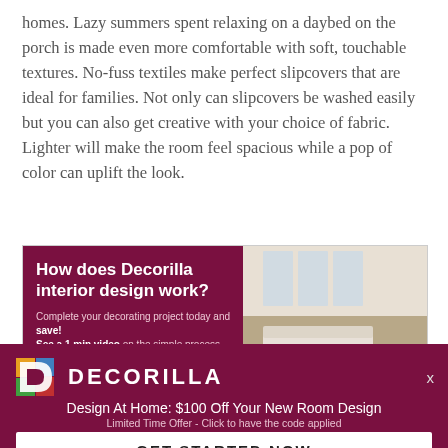homes. Lazy summers spent relaxing on a daybed on the porch is made even more comfortable with soft, touchable textures. No-fuss textiles make perfect slipcovers that are ideal for families. Not only can slipcovers be washed easily but you can also get creative with your choice of fabric. Lighter will make the room feel spacious while a pop of color can uplift the look.
[Figure (infographic): Decorilla interior design advertisement banner with dark red/maroon background on the left showing 'How does Decorilla interior design work?' headline, small descriptive text, and a LEARN MORE button, and on the right a photo of a bright living room interior.]
[Figure (infographic): Decorilla promotional overlay with dark red/maroon background, Decorilla logo (colorful D shape), brand name DECORILLA, close X button, promotional text 'Design At Home: $100 Off Your New Room Design', 'Limited Time Offer - Click to have the code applied', and a GET STARTED NOW button.]